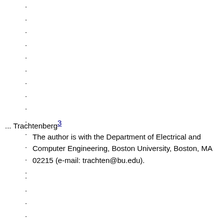·
·
·
·
·
·
·
·
·
·
·
·
·
·
... Trachtenberg³ The author is with the Department of Electrical and Computer Engineering, Boston University, Boston, MA 02215 (e-mail: trachten@bu.edu).
·
·
·
·
·
·
·
·
·
·
·